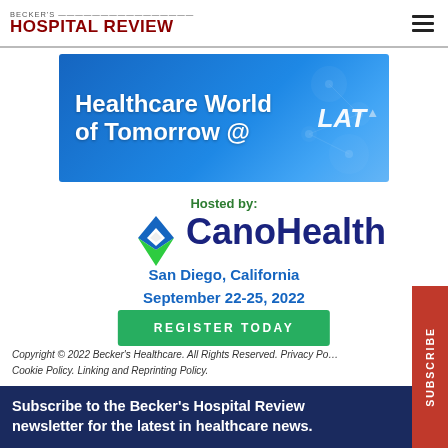BECKER'S HOSPITAL REVIEW
[Figure (illustration): Healthcare World of Tomorrow @ LAT banner with blue gradient background and network graphic]
Hosted by:
[Figure (logo): CanoHealth diamond logo - blue and green diamond shape]
CanoHealth
San Diego, California
September 22-25, 2022
REGISTER TODAY
Copyright © 2022 Becker's Healthcare. All Rights Reserved. Privacy Policy. Cookie Policy. Linking and Reprinting Policy.
Subscribe to the Becker's Hospital Review newsletter for the latest in healthcare news.